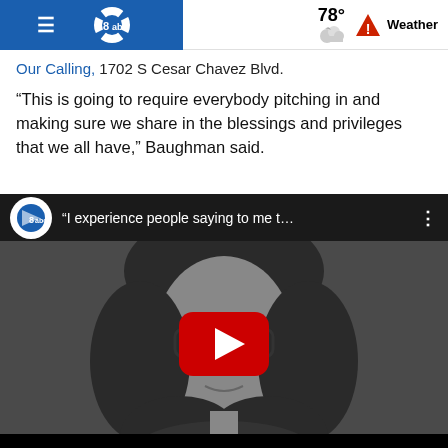WFAA ABC 8 — 78° Weather
Our Calling, 1702 S Cesar Chavez Blvd.
“This is going to require everybody pitching in and making sure we share in the blessings and privileges that we all have,” Baughman said.
[Figure (screenshot): YouTube video embed showing a woman with curly hair and glasses in grayscale, with a red YouTube play button overlay. Video title bar reads: "I experience people saying to me t..." with WFAA channel logo.]